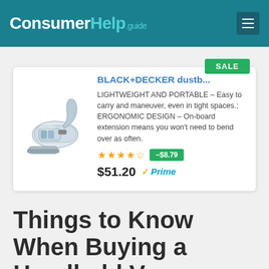ConsumerHelp.guide
[Figure (screenshot): Product card for BLACK+DECKER dustbuster handheld vacuum showing product image, description, star rating, discount badge (-$8.79), price ($51.20), and Amazon Prime badge. SALE badge in top right corner.]
Things to Know When Buying a Handheld Vacuum